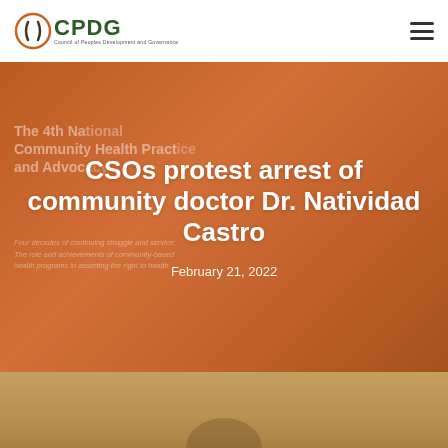CPDG — Council of Peoples Development and Governance
CSOs protest arrest of community doctor Dr. Natividad Castro
February 21, 2022
[Figure (photo): Background hero photo showing a woman in orange presenting at The 4th National Community Health Practice and Advocacy conference. Overlay text visible: 'The 4th National Community Health Practice and Advocacy' and smaller italic text about four decades of continuing struggle and service.]
[Figure (photo): Bottom photo section showing a person, tan/golden background color, partially visible at the bottom of the page.]